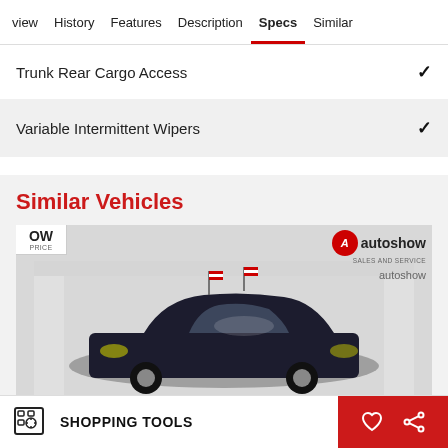view | History | Features | Description | Specs | Similar
Trunk Rear Cargo Access ✓
Variable Intermittent Wipers ✓
Similar Vehicles
[Figure (photo): Dark colored SUV/crossover vehicle displayed in a dealership showroom with small American flags on the hood, autoshow dealership logo visible in upper right]
SHOPPING TOOLS